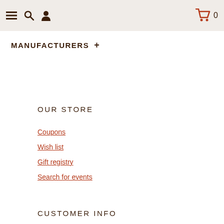Navigation bar with menu, search, user icons and cart (0 items)
MANUFACTURERS +
OUR STORE
Coupons
Wish list
Gift registry
Search for events
CUSTOMER INFO